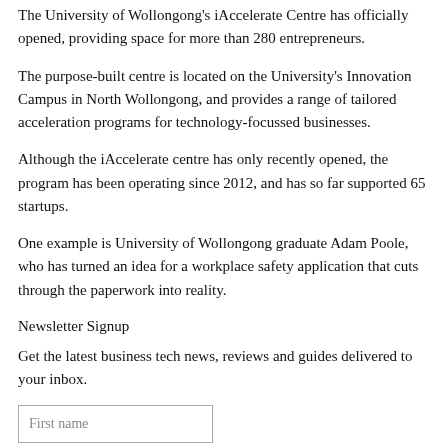The University of Wollongong's iAccelerate Centre has officially opened, providing space for more than 280 entrepreneurs.
The purpose-built centre is located on the University's Innovation Campus in North Wollongong, and provides a range of tailored acceleration programs for technology-focussed businesses.
Although the iAccelerate centre has only recently opened, the program has been operating since 2012, and has so far supported 65 startups.
One example is University of Wollongong graduate Adam Poole, who has turned an idea for a workplace safety application that cuts through the paperwork into reality.
Newsletter Signup
Get the latest business tech news, reviews and guides delivered to your inbox.
First name